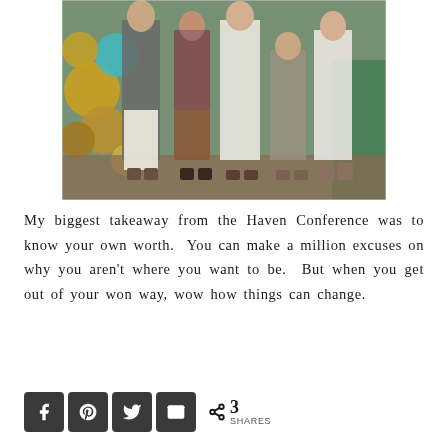[Figure (photo): Group of women posing together at the Haven Conference, with balloons and greenery in the background. Some wear white pants, others in casual summer attire.]
My biggest takeaway from the Haven Conference was to know your own worth. You can make a million excuses on why you aren't where you want to be. But when you get out of your won way, wow how things can change.